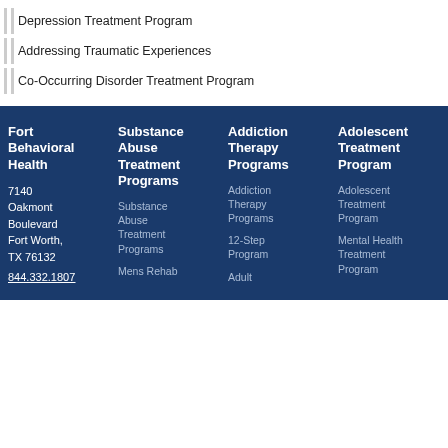Depression Treatment Program
Addressing Traumatic Experiences
Co-Occurring Disorder Treatment Program
Fort Behavioral Health | 7140 Oakmont Boulevard Fort Worth, TX 76132 | 844.332.1807 | Substance Abuse Treatment Programs | Substance Abuse Treatment Programs | Mens Rehab | Addiction Therapy Programs | Addiction Therapy Programs | 12-Step Program | Adult | Adolescent Treatment Program | Adolescent Treatment Program | Mental Health Treatment Program